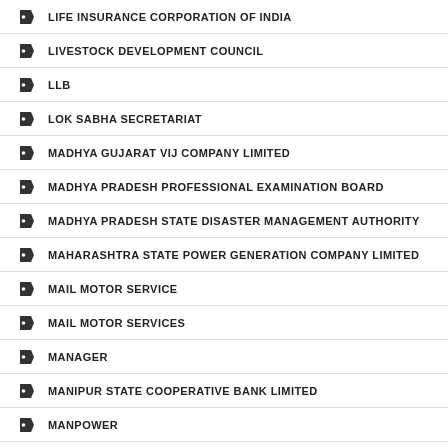LIFE INSURANCE CORPORATION OF INDIA
LIVESTOCK DEVELOPMENT COUNCIL
LLB
LOK SABHA SECRETARIAT
MADHYA GUJARAT VIJ COMPANY LIMITED
MADHYA PRADESH PROFESSIONAL EXAMINATION BOARD
MADHYA PRADESH STATE DISASTER MANAGEMENT AUTHORITY
MAHARASHTRA STATE POWER GENERATION COMPANY LIMITED
MAIL MOTOR SERVICE
MAIL MOTOR SERVICES
MANAGER
MANIPUR STATE COOPERATIVE BANK LIMITED
MANPOWER